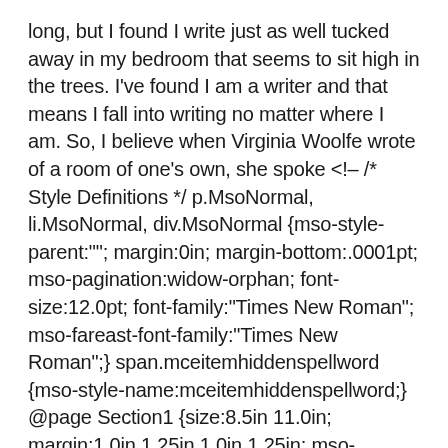long, but I found I write just as well tucked away in my bedroom that seems to sit high in the trees. I've found I am a writer and that means I fall into writing no matter where I am. So, I believe when Virginia Woolfe wrote of a room of one's own, she spoke <!-- /* Style Definitions */ p.MsoNormal, li.MsoNormal, div.MsoNormal {mso-style-parent:""; margin:0in; margin-bottom:.0001pt; mso-pagination:widow-orphan; font-size:12.0pt; font-family:"Times New Roman"; mso-fareast-font-family:"Times New Roman";} span.mceitemhiddenspellword {mso-style-name:mceitemhiddenspellword;} @page Section1 {size:8.5in 11.0in; margin:1.0in 1.25in 1.0in 1.25in; mso-header-margin:.5in; mso-footer-margin:.5in; mso-paper-source:0;} div.Section1 {page:Section1;} --> /* Style Definitions */ table.MsoNormalTable